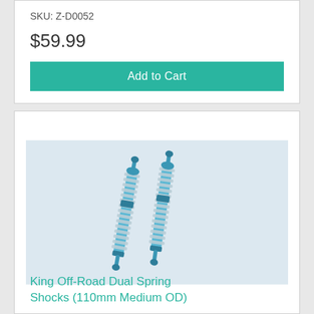SKU: Z-D0052
$59.99
Add to Cart
[Figure (photo): Two blue anodized dual-spring RC shock absorbers (110mm) laying diagonally on a white background]
King Off-Road Dual Spring Shocks (110mm Medium OD)